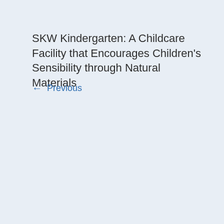SKW Kindergarten: A Childcare Facility that Encourages Children's Sensibility through Natural Materials
← Previous